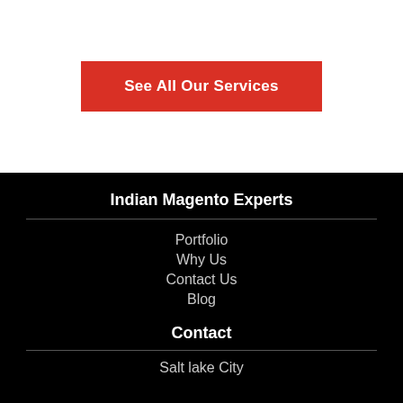See All Our Services
Indian Magento Experts
Portfolio
Why Us
Contact Us
Blog
Contact
Salt lake City